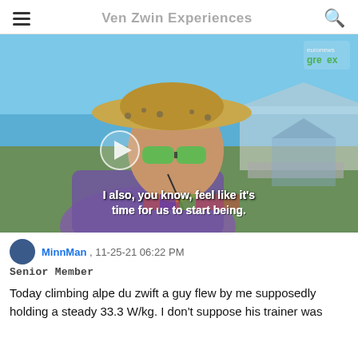Ven Zwin Experiences
[Figure (screenshot): Video thumbnail showing a woman wearing a wide-brimmed straw hat and green reflective sunglasses at an outdoor event. Subtitle reads: 'I also, you know, feel like it's time for us to start being.' A play button is overlaid. Top right shows 'euronews greex' logo.]
MinnMan , 11-25-21 06:22 PM
Senior Member
Today climbing alpe du zwift a guy flew by me supposedly holding a steady 33.3 W/kg. I don't suppose his trainer was